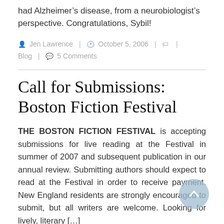had Alzheimer's disease, from a neurobiologist's perspective. Congratulations, Sybil!
Jen Lawrence | October 5, 2006 | | Blog | 5 Comments
Call for Submissions: Boston Fiction Festival
THE BOSTON FICTION FESTIVAL is accepting submissions for live reading at the Festival in summer of 2007 and subsequent publication in our annual review. Submitting authors should expect to read at the Festival in order to receive payment. New England residents are strongly encouraged to submit, but all writers are welcome. Looking for lively, literary [...]